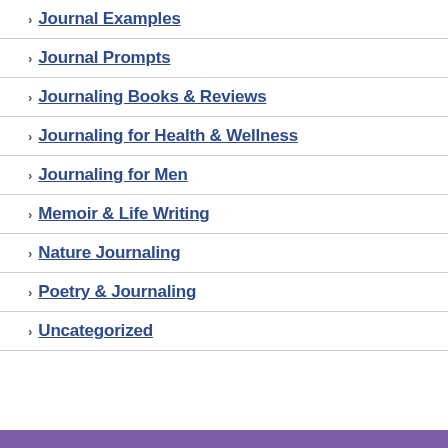Journal Examples
Journal Prompts
Journaling Books & Reviews
Journaling for Health & Wellness
Journaling for Men
Memoir & Life Writing
Nature Journaling
Poetry & Journaling
Uncategorized